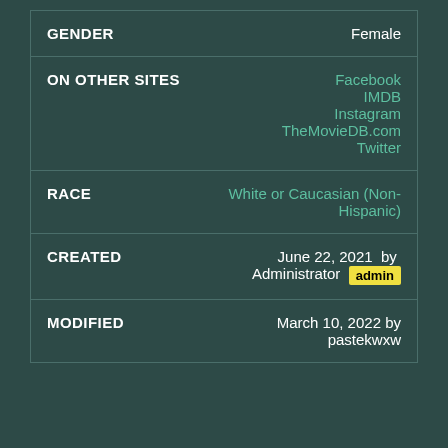| Field | Value |
| --- | --- |
| GENDER | Female |
| ON OTHER SITES | Facebook
IMDB
Instagram
TheMovieDB.com
Twitter |
| RACE | White or Caucasian (Non-Hispanic) |
| CREATED | June 22, 2021 by Administrator [admin] |
| MODIFIED | March 10, 2022 by pastekwxw |